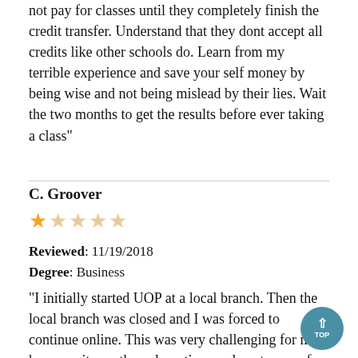not pay for classes until they completely finish the credit transfer. Understand that they dont accept all credits like other schools do. Learn from my terrible experience and save your self money by being wise and not being mislead by their lies. Wait the two months to get the results before ever taking a class"
C. Groover
[Figure (other): 1 out of 5 stars rating — one filled gold star followed by four empty/faded stars]
Reviewed: 11/19/2018
Degree: Business
"I initially started UOP at a local branch. Then the local branch was closed and I was forced to continue online. This was very challenging for me, however it was the only option as almost none of my classes would transfer to another University. Also as a Veteran that is receiving GI Bill